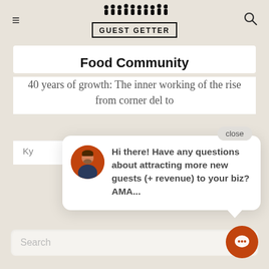GUEST GETTER
Food Community
40 years of growth: The inner working of the rise from corner del to
Ky
[Figure (screenshot): Chat popup with avatar of a man in a suit, message reading: Hi there! Have any questions about attracting more new guests (+ revenue) to your biz? AMA... with a close button]
Search